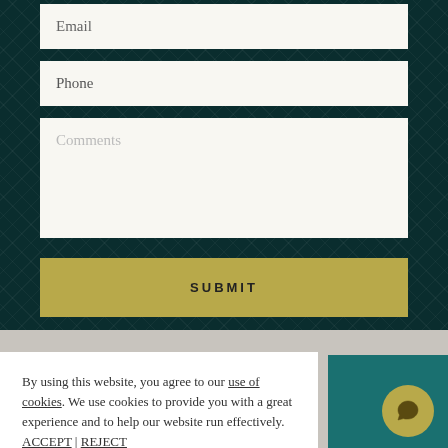Email
Phone
Comments
SUBMIT
By using this website, you agree to our use of cookies. We use cookies to provide you with a great experience and to help our website run effectively. ACCEPT | REJECT